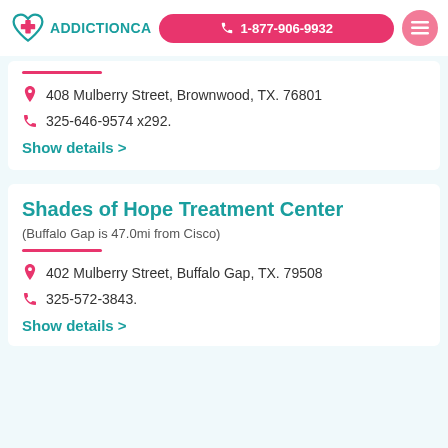ADDICTIONCA | 1-877-906-9932
408 Mulberry Street, Brownwood, TX. 76801
325-646-9574 x292.
Show details >
Shades of Hope Treatment Center
(Buffalo Gap is 47.0mi from Cisco)
402 Mulberry Street, Buffalo Gap, TX. 79508
325-572-3843.
Show details >